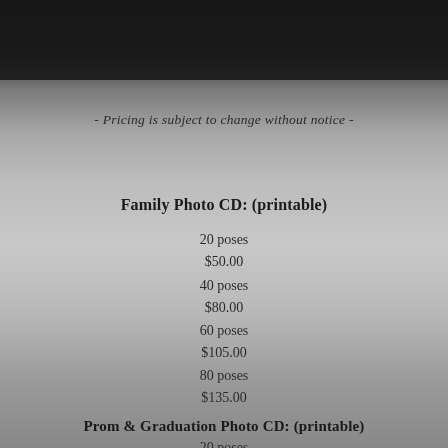[Figure (photo): Black and white background photo of a bride or person in white dress holding a parasol/umbrella on what appears to be a bridge with metal lattice structure]
- Pricing is subject to change without notice -
Family Photo CD: (printable)
20 poses
$50.00
40 poses
$80.00
60 poses
$105.00
80 poses
$135.00
Prom & Graduation Photo CD: (printable)
20 poses